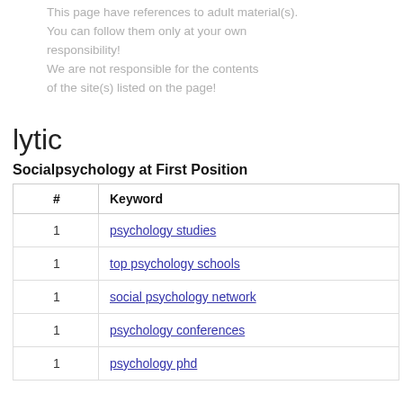This page have references to adult material(s). You can follow them only at your own responsibility! We are not responsible for the contents of the site(s) listed on the page!
lytic
Socialpsychology at First Position
| # | Keyword |
| --- | --- |
| 1 | psychology studies |
| 1 | top psychology schools |
| 1 | social psychology network |
| 1 | psychology conferences |
| 1 | psychology phd |